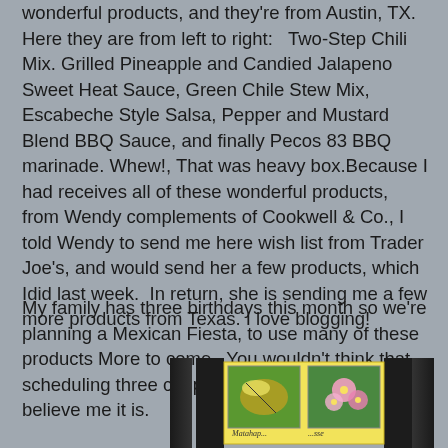wonderful products, and they're from Austin, TX. Here they are from left to right:   Two-Step Chili Mix. Grilled Pineapple and Candied Jalapeno Sweet Heat Sauce, Green Chile Stew Mix, Escabeche Style Salsa, Pepper and Mustard Blend BBQ Sauce, and finally Pecos 83 BBQ marinade. Whew!, That was heavy box.Because I had receives all of these wonderful products, from Wendy complements of Cookwell & Co., I told Wendy to send me here wish list from Trader Joe's, and would send her a few products, which Idid last week.  In return, she is sending me a few more products from Texas. I love blogging!
My family has three birthdays this month so we're planning a Mexican Fiesta, to use many of these products More to come.  You wouldn't think that scheduling three couples would be a problem, but believe me it is.
[Figure (photo): A photo showing stamps or cards with illustrations of a bee/butterfly and pink flowers on a yellow background, flanked by dark fabric or material on either side.]